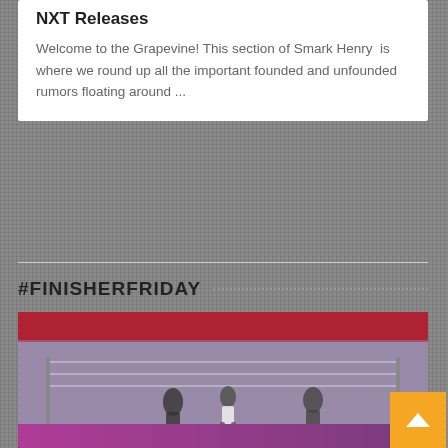NXT Releases
Welcome to the Grapevine! This section of Smark Henry  is where we round up all the important founded and unfounded rumors floating around ...
#FINISHERFRIDAY
[Figure (photo): Wrestling ring image showing wrestlers mid-match with referee, red arena background, 'Discovery' watermark visible]
Finisher Friday (8/5/22): The Von Erich Claw Before Time
Aug 05, 2022
[Figure (photo): Partial view of second article card with purple/pink background showing cartoon cat-like characters]